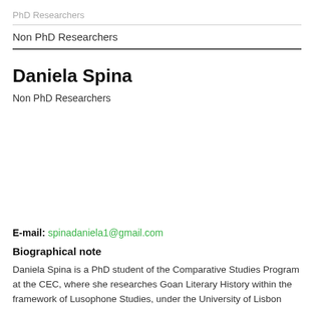PhD Researchers
Non PhD Researchers
Daniela Spina
Non PhD Researchers
E-mail: spinadaniela1@gmail.com
Biographical note
Daniela Spina is a PhD student of the Comparative Studies Program at the CEC, where she researches Goan Literary History within the framework of Lusophone Studies, under the University of Lisbon